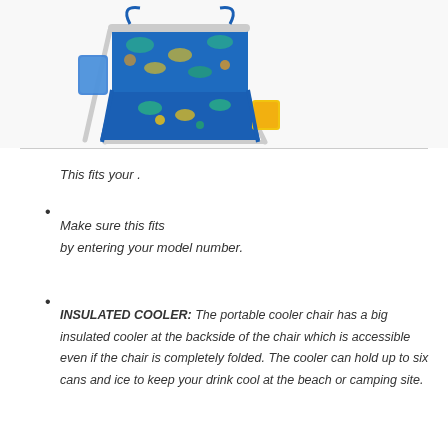[Figure (photo): A blue folding beach/camping chair with tropical floral pattern (blue background with yellow and green leaves/flowers), white metal frame, and visible straps, shown on white background.]
This fits your .
Make sure this fits by entering your model number.
INSULATED COOLER: The portable cooler chair has a big insulated cooler at the backside of the chair which is accessible even if the chair is completely folded. The cooler can hold up to six cans and ice to keep your drink cool at the beach or camping site.